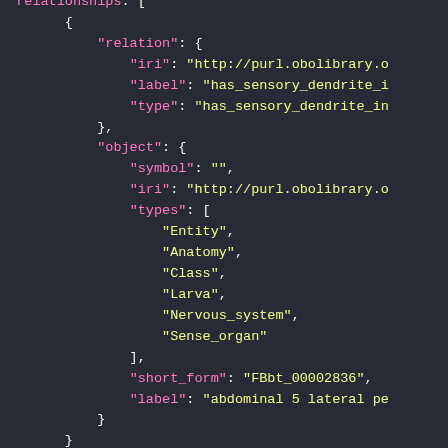[Figure (screenshot): JSON code snippet showing relationships object with relation (iri, label, type) and object (symbol, iri, types array with Entity/Anatomy/Class/Larva/Nervous_system/Sense_organ, short_form FBbt_00002836, label abdominal 5 lateral pe...) fields on dark background]